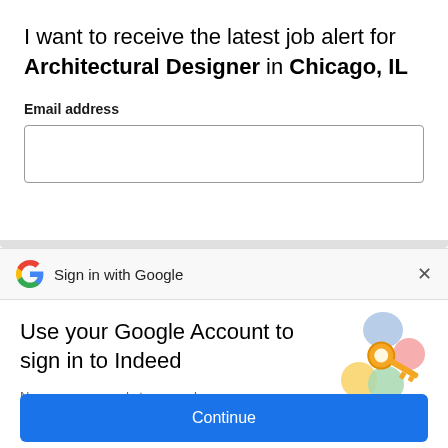I want to receive the latest job alert for Architectural Designer in Chicago, IL
Email address
Sign in with Google
Use your Google Account to sign in to Indeed
No more passwords to remember. Signing in is fast, simple and secure.
[Figure (illustration): Colorful Google key illustration with circular shapes in blue, yellow, green, and red, and a gold key icon in the center]
Continue